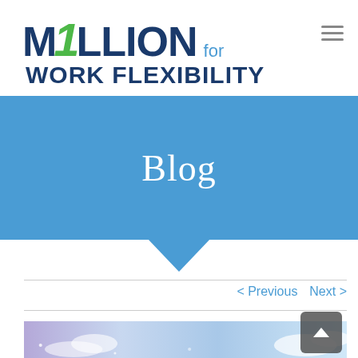[Figure (logo): M1LLION for WORK FLEXIBILITY logo with green '1' and dark blue text, with a hamburger menu icon in top right]
Blog
< Previous   Next >
[Figure (photo): Sky photo with blue and purple tones and white clouds, partially visible at bottom of page]
[Figure (other): Scroll-to-top button, dark rounded rectangle with upward chevron]